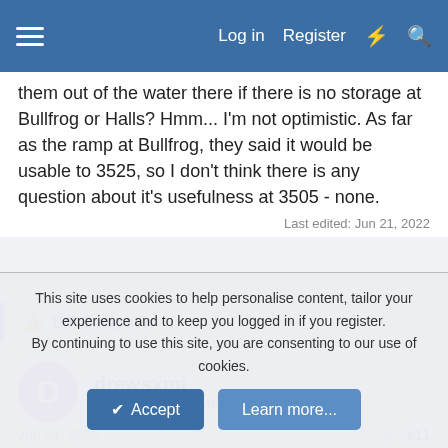Log in  Register
them out of the water there if there is no storage at Bullfrog or Halls? Hmm... I'm not optimistic. As far as the ramp at Bullfrog, they said it would be usable to 3525, so I don't think there is any question about it's usefulness at 3505 - none.
Last edited: Jun 21, 2022
Bill Sampson
drewsxmi
Escalante-Class Member
Jun 21, 2022  #11
The general consensus from the falling levels through the last
This site uses cookies to help personalise content, tailor your experience and to keep you logged in if you register.
By continuing to use this site, you are consenting to our use of cookies.